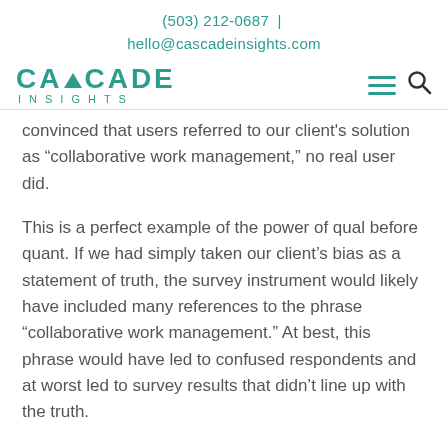(503) 212-0687 | hello@cascadeinsights.com
[Figure (logo): Cascade Insights logo with teal mountain icon, text CASCADE and INSIGHTS, navigation hamburger menu and search icon]
convinced that users referred to our client's solution as “collaborative work management,” no real user did.
This is a perfect example of the power of qual before quant. If we had simply taken our client’s bias as a statement of truth, the survey instrument would likely have included many references to the phrase “collaborative work management.” At best, this phrase would have led to confused respondents and at worst led to survey results that didn’t line up with the truth.